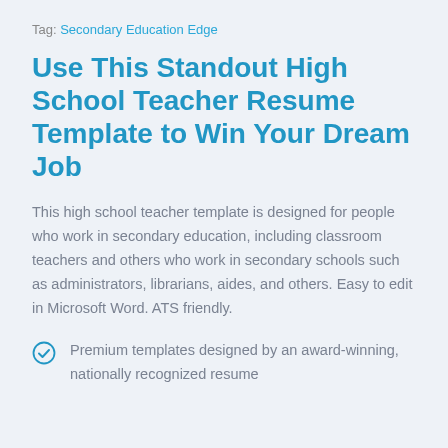Tag: Secondary Education Edge
Use This Standout High School Teacher Resume Template to Win Your Dream Job
This high school teacher template is designed for people who work in secondary education, including classroom teachers and others who work in secondary schools such as administrators, librarians, aides, and others. Easy to edit in Microsoft Word. ATS friendly.
Premium templates designed by an award-winning, nationally recognized resume